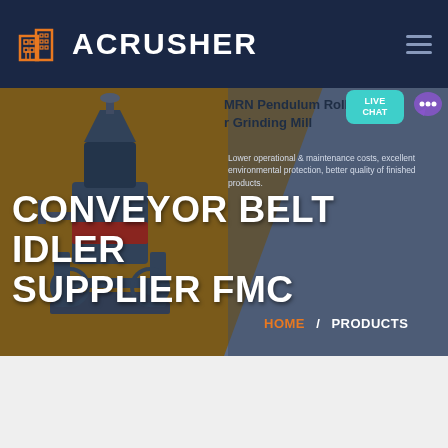[Figure (screenshot): ACRUSHER website header with dark navy background, orange building logo icon, white bold ACRUSHER brand name, and hamburger menu icon]
CONVEYOR BELT IDLER SUPPLIER FMC
MRN Pendulum Roller Grinding Mill
Lower operational & maintenance costs, excellent environmental protection, better quality of finished products.
HOME / PRODUCTS